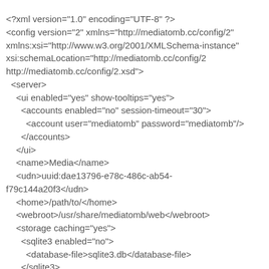<?xml version="1.0" encoding="UTF-8" ?>
<config version="2" xmlns="http://mediatomb.cc/config/2"
xmlns:xsi="http://www.w3.org/2001/XMLSchema-instance"
xsi:schemaLocation="http://mediatomb.cc/config/2
http://mediatomb.cc/config/2.xsd">
  <server>
    <ui enabled="yes" show-tooltips="yes">
      <accounts enabled="no" session-timeout="30">
        <account user="mediatomb" password="mediatomb"/>
      </accounts>
    </ui>
    <name>Media</name>
    <udn>uuid:dae13796-e78c-486c-ab54-f79c144a20f3</udn>
    <home>/path/to/</home>
    <webroot>/usr/share/mediatomb/web</webroot>
    <storage caching="yes">
      <sqlite3 enabled="no">
        <database-file>sqlite3.db</database-file>
      </sqlite3>
      <mysql enabled="yes">
        <host>localhost</host>